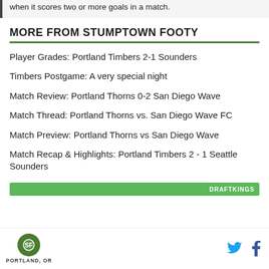when it scores two or more goals in a match.
MORE FROM STUMPTOWN FOOTY
Player Grades: Portland Timbers 2-1 Sounders
Timbers Postgame: A very special night
Match Review: Portland Thorns 0-2 San Diego Wave
Match Thread: Portland Thorns vs. San Diego Wave FC
Match Preview: Portland Thorns vs San Diego Wave
Match Recap & Highlights: Portland Timbers 2 - 1 Seattle Sounders
[Figure (other): DraftKings advertisement bar (green)]
PORTLAND, OR